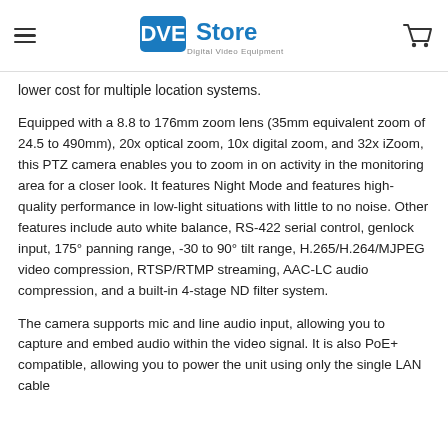DVE Store - Digital Video Equipment
lower cost for multiple location systems.
Equipped with a 8.8 to 176mm zoom lens (35mm equivalent zoom of 24.5 to 490mm), 20x optical zoom, 10x digital zoom, and 32x iZoom, this PTZ camera enables you to zoom in on activity in the monitoring area for a closer look. It features Night Mode and features high-quality performance in low-light situations with little to no noise. Other features include auto white balance, RS-422 serial control, genlock input, 175° panning range, -30 to 90° tilt range, H.265/H.264/MJPEG video compression, RTSP/RTMP streaming, AAC-LC audio compression, and a built-in 4-stage ND filter system.
The camera supports mic and line audio input, allowing you to capture and embed audio within the video signal. It is also PoE+ compatible, allowing you to power the unit using only the single LAN cable